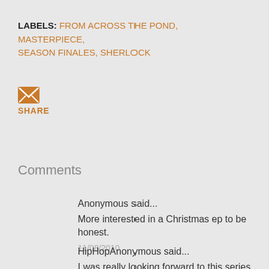LABELS: FROM ACROSS THE POND, MASTERPIECE, SEASON FINALES, SHERLOCK
[Figure (illustration): Orange email/envelope icon]
SHARE
Comments
Anonymous said...
More interested in a Christmas ep to be honest.
11/08/2010
HipHopAnonymous said...
I was really looking forward to this series, and I'm